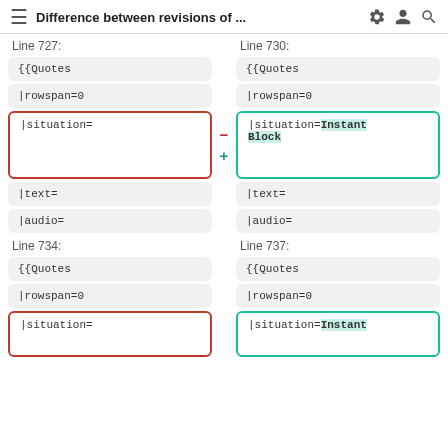Difference between revisions of ...
Line 727:
Line 730:
{{Quotes
{{Quotes
|rowspan=0
|rowspan=0
|situation=
|situation=Instant Block
|text=
|text=
|audio=
|audio=
Line 734:
Line 737:
{{Quotes
{{Quotes
|rowspan=0
|rowspan=0
|situation=
|situation=Instant